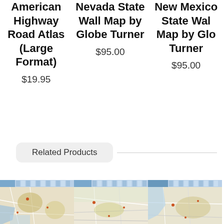American Highway Road Atlas (Large Format)
$19.95
Nevada State Wall Map by Globe Turner
$95.00
New Mexico State Wall Map by Globe Turner
$95.00
Related Products
[Figure (map): Road map thumbnail 1]
[Figure (map): Road map thumbnail 2]
[Figure (map): Road map thumbnail 3]